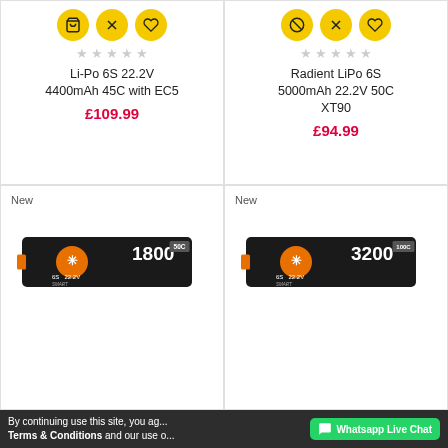[Figure (screenshot): Product card top-left: LiPo battery with yellow action icons, grey stars, product name Li-Po 6S 22.2V 4400mAh 45C with EC5, price £109.99]
[Figure (screenshot): Product card top-right: Radient LiPo battery with yellow action icons, grey stars, product name Radient LiPo 6S 5000mAh 22.2V 50C XT90, price £94.99]
[Figure (photo): Product card bottom-left: New badge, SMART 1800 50C 6S 22.2V LiPo battery pack with orange connector]
[Figure (photo): Product card bottom-right: New badge, SMART 3200 100C 6S 22.2V LiPo battery pack with orange connector]
By continuing use this site, you ag... Terms & Conditions and our use o...
Whatsapp Live Chat